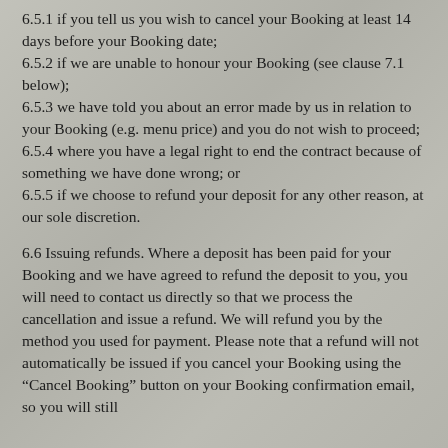6.5.1 if you tell us you wish to cancel your Booking at least 14 days before your Booking date;
6.5.2 if we are unable to honour your Booking (see clause 7.1 below);
6.5.3 we have told you about an error made by us in relation to your Booking (e.g. menu price) and you do not wish to proceed;
6.5.4 where you have a legal right to end the contract because of something we have done wrong; or
6.5.5 if we choose to refund your deposit for any other reason, at our sole discretion.
6.6 Issuing refunds. Where a deposit has been paid for your Booking and we have agreed to refund the deposit to you, you will need to contact us directly so that we process the cancellation and issue a refund. We will refund you by the method you used for payment. Please note that a refund will not automatically be issued if you cancel your Booking using the "Cancel Booking" button on your Booking confirmation email, so you will still